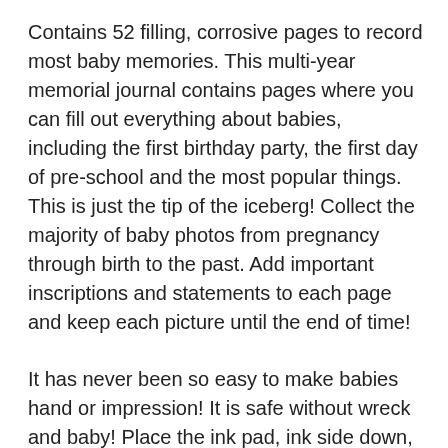Contains 52 filling, corrosive pages to record most baby memories. This multi-year memorial journal contains pages where you can fill out everything about babies, including the first birthday party, the first day of pre-school and the most popular things. This is just the tip of the iceberg! Collect the majority of baby photos from pregnancy through birth to the past. Add important inscriptions and statements to each page and keep each picture until the end of time!
It has never been so easy to make babies hand or impression! It is safe without wreck and baby! Place the ink pad, ink side down, over the print card supplied with your Chevron Baby Book.